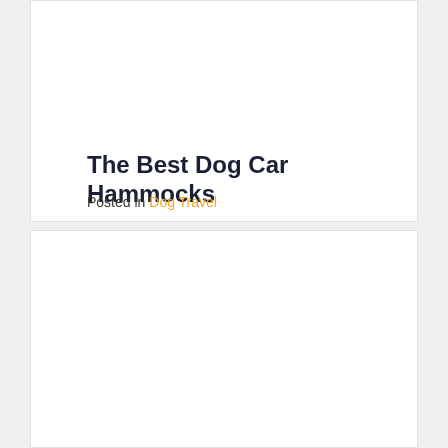The Best Dog Car Hammocks
Posted in Dog Travel